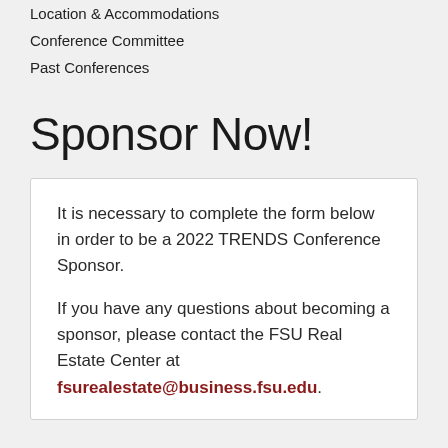Location & Accommodations
Conference Committee
Past Conferences
Sponsor Now!
It is necessary to complete the form below in order to be a 2022 TRENDS Conference Sponsor.

If you have any questions about becoming a sponsor, please contact the FSU Real Estate Center at fsurealestate@business.fsu.edu.